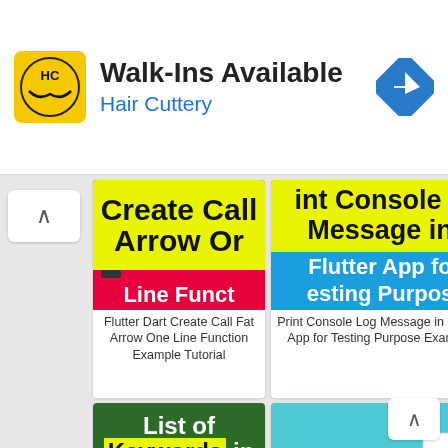[Figure (screenshot): Advertisement banner for Hair Cuttery with logo, 'Walk-Ins Available' text, and navigation icon]
[Figure (screenshot): Flutter Dart Create Call Fat Arrow One Line Function Example Tutorial article thumbnail with yellow and red background]
Flutter Dart Create Call Fat Arrow One Line Function Example Tutorial
[Figure (screenshot): Print Console Log Message in Flutter App for Testing Purpose Example article thumbnail with yellow and blue background]
Print Console Log Message in Flutter App for Testing Purpose Example
[Figure (screenshot): List of Keywords in Dart Reserved Programming Words article thumbnail with green background]
[Figure (screenshot): Generate release-key.keystore in Flutter article thumbnail with teal background]